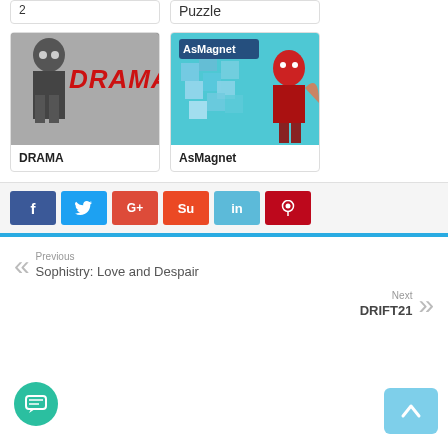2
Puzzle
[Figure (photo): Black and white photo of a child figure with red DRAMA text beside it]
DRAMA
[Figure (photo): Colorful game screenshot with AsMagnet logo and cartoon character]
AsMagnet
f
t
G+
Su
in
p
Previous
Sophistry: Love and Despair
Next
DRIFT21